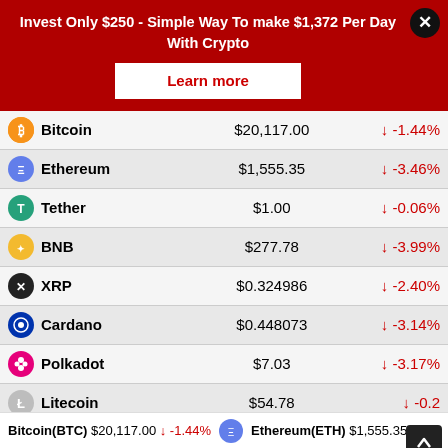[Figure (infographic): Red advertisement banner: 'Invest Only $250 - Simple Way To make $1,372 Per Day With Crypto' with a 'Learn more' button and close (X) button]
| Coin | Price | Change |
| --- | --- | --- |
| Bitcoin | $20,117.00 | ↓ -1.44% |
| Ethereum | $1,555.35 | ↓ -3.46% |
| Tether | $1.00 | ↓ -0.06% |
| BNB | $277.78 | ↓ -3.99% |
| XRP | $0.324986 | ↓ -2.40% |
| Cardano | $0.448073 | ↓ -3.14% |
| Polkadot | $7.03 | ↓ -3.17% |
| Litecoin | $54.78 | ↓ -0.2... |
| Chainlink | $6.60 | ↓ -3.12% |
| Bitcoin Cash | $115.38 | ↓ -1.70% |
Bitcoin(BTC) $20,117.00 ↓ -1.44%   Ethereum(ETH) $1,555.35 ↓ -...